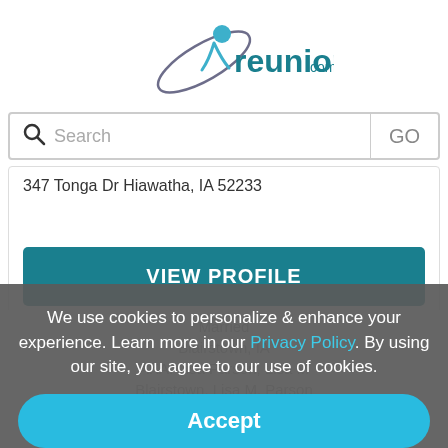[Figure (logo): reunion.com logo with teal text and blue/purple figure icon]
Search  GO
347 Tonga Dr Hiawatha, IA 52233
VIEW PROFILE
We use cookies to personalize & enhance your experience. Learn more in our Privacy Policy. By using our site, you agree to our use of cookies.
Accept